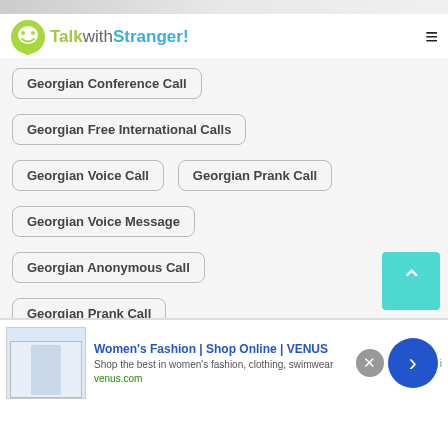[Figure (screenshot): Top banner image strip]
TalkwithStranger!
Georgian Conference Call
Georgian Free International Calls
Georgian Voice Call
Georgian Prank Call
Georgian Voice Message
Georgian Anonymous Call
Georgian Prank Call
Georgian Random Numbers to Call
Georgian ICQ Chat
[Figure (screenshot): Advertisement banner: Women's Fashion | Shop Online | VENUS - Shop the best in women's fashion, clothing, swimwear - venus.com]